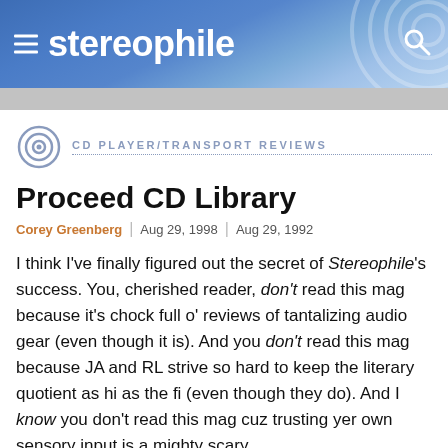stereophile
CD PLAYER/TRANSPORT REVIEWS
Proceed CD Library
Corey Greenberg | Aug 29, 1998 | Aug 29, 1992
I think I've finally figured out the secret of Stereophile's success. You, cherished reader, don't read this mag because it's chock full o' reviews of tantalizing audio gear (even though it is). And you don't read this mag because JA and RL strive so hard to keep the literary quotient as hi as the fi (even though they do). And I know you don't read this mag cuz trusting yer own sensory input is a mighty scary